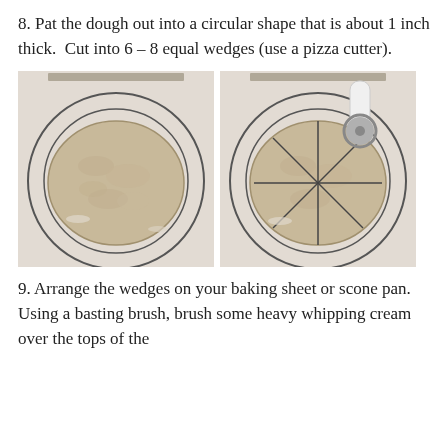8. Pat the dough out into a circular shape that is about 1 inch thick. Cut into 6 – 8 equal wedges (use a pizza cutter).
[Figure (photo): Two side-by-side photos on a silicone pastry mat. Left: a round uncut scone dough patted into a circle about 1 inch thick, sitting on concentric circle guides on the mat. Right: the same dough cut into 8 equal wedges using a pizza cutter, with the white-handled pizza cutter visible at the top right.]
9. Arrange the wedges on your baking sheet or scone pan. Using a basting brush, brush some heavy whipping cream over the tops of the